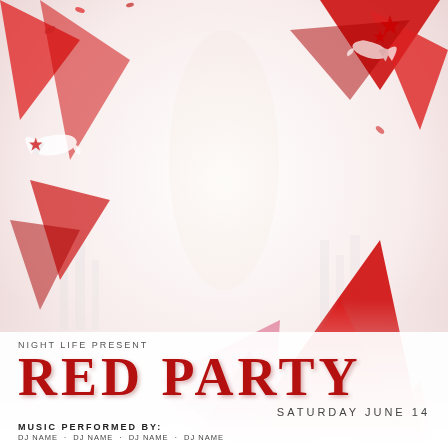[Figure (illustration): Party flyer background with a woman dancing, red geometric shapes/triangles, disco balls, white doves, and red star shapes on a light/white gradient background.]
NIGHT LIFE PRESENT
RED PARTY
SATURDAY JUNE 14
MUSIC PERFORMED BY:
DJ NAME · DJ NAME · DJ NAME · DJ NAME